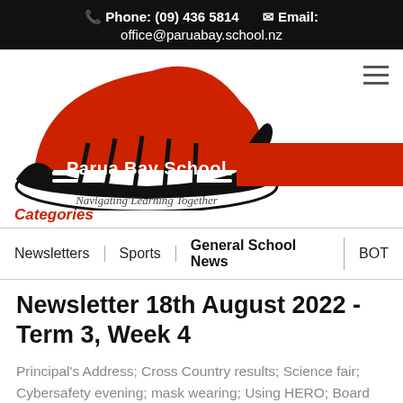Phone: (09) 436 5814   Email: office@paruabay.school.nz
[Figure (logo): Parua Bay School logo with waka canoe illustration and tagline 'Navigating Learning Together']
Categories
Newsletters | Sports | General School News | BOT
Newsletter 18th August 2022 - Term 3, Week 4
Principal's Address; Cross Country results; Science fair; Cybersafety evening; mask wearing; Using HERO; Board elections; School donations; policies on website; KEA crossing; 150th T-shirts;